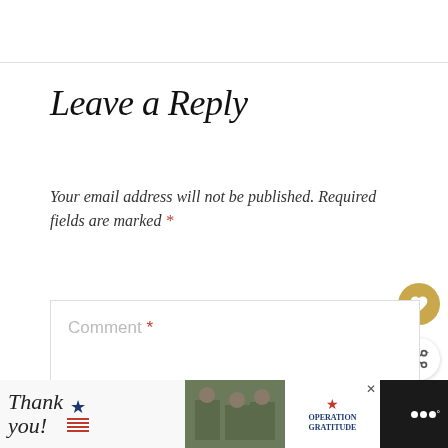Leave a Reply
Your email address will not be published. Required fields are marked *
Comment *
[Figure (screenshot): Comment text area input box with placeholder text 'Comment *']
[Figure (infographic): WHAT'S NEXT arrow label with article title '10 Best Travel Scarves for...' and thumbnail image]
[Figure (infographic): Advertisement bar at bottom: Thank you military appreciation ad with Operation Gratitude logo]